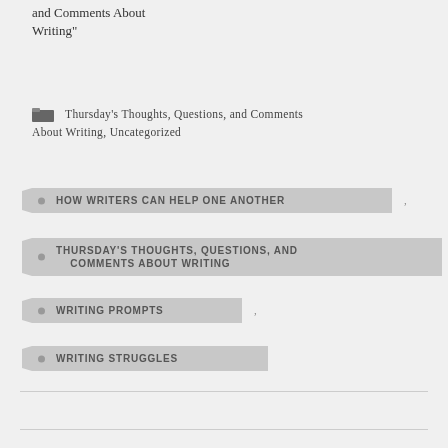and Comments About Writing"
Thursday's Thoughts, Questions, and Comments About Writing, Uncategorized
HOW WRITERS CAN HELP ONE ANOTHER
THURSDAY'S THOUGHTS, QUESTIONS, AND COMMENTS ABOUT WRITING
WRITING PROMPTS
WRITING STRUGGLES